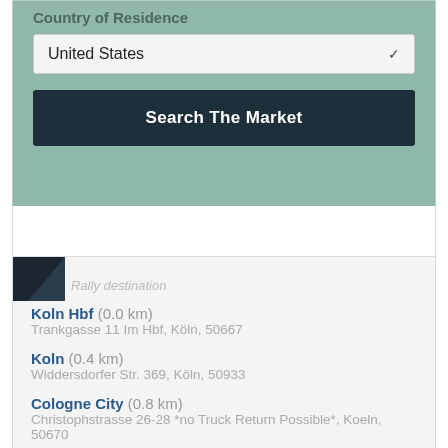Country of Residence
United States
Search The Market
[Figure (screenshot): Map icon / logo partially visible in top-left of lower panel]
Rally destination
Koln Hbf (0.0 km) - Trankgasse 11 Im Hbf, Köln, 50667
Koln (0.4 km) - Widdersdorfer Str. 369, Köln, 50933
Cologne City (0.8 km) - Christophstrasse 26-28 *no Truck Return Possible*, Koeln, 50670
Leverkusen Manfort (10.4 km)